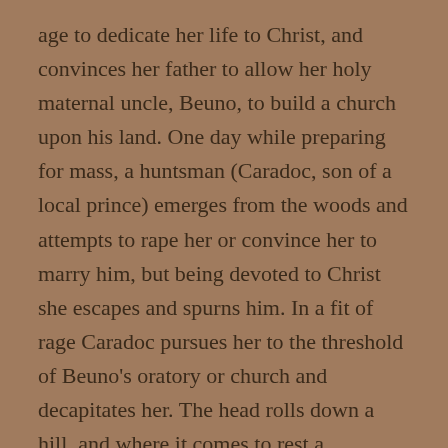age to dedicate her life to Christ, and convinces her father to allow her holy maternal uncle, Beuno, to build a church upon his land. One day while preparing for mass, a huntsman (Caradoc, son of a local prince) emerges from the woods and attempts to rape her or convince her to marry him, but being devoted to Christ she escapes and spurns him. In a fit of rage Caradoc pursues her to the threshold of Beuno's oratory or church and decapitates her. The head rolls down a hill, and where it comes to rest a miraculous spring bubbles up from the ground. Luckily for her, Beuno arrives, kills Caradoc (his body melts into the ground) and contrives to magically join the maiden's head back to her body, restoring her to life in god's name. Beuno then his benediction, proclaiming that pilgrims who honoured the well would be healed of their ailments.